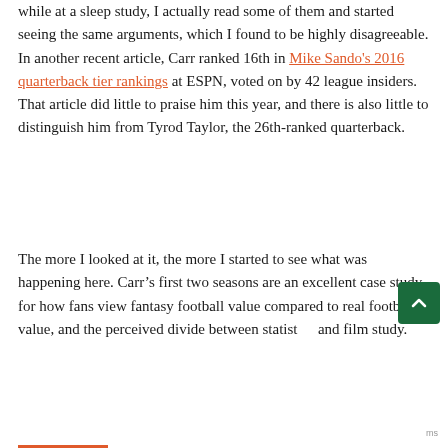while at a sleep study, I actually read some of them and started seeing the same arguments, which I found to be highly disagreeable. In another recent article, Carr ranked 16th in Mike Sando's 2016 quarterback tier rankings at ESPN, voted on by 42 league insiders. That article did little to praise him this year, and there is also little to distinguish him from Tyrod Taylor, the 26th-ranked quarterback.
The more I looked at it, the more I started to see what was happening here. Carr’s first two seasons are an excellent case study for how fans view fantasy football value compared to real football value, and the perceived divide between statistics and film study.